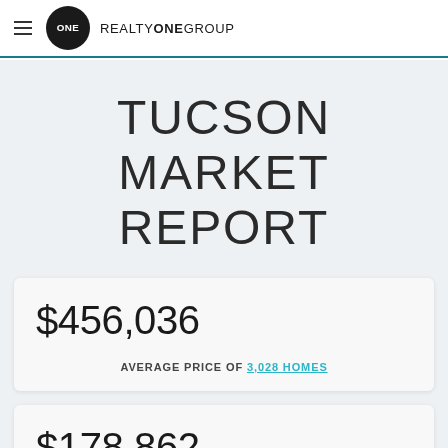ONE REALTY ONE GROUP
TUCSON MARKET REPORT
$456,036
AVERAGE PRICE OF 3,028 HOMES
$178,862